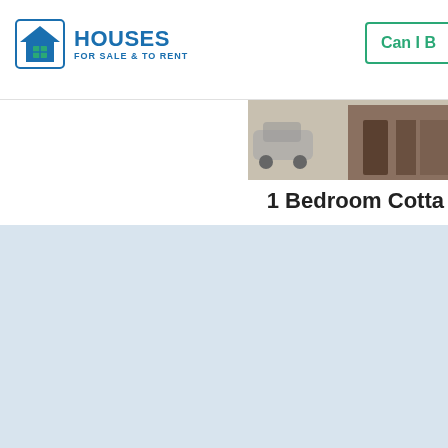[Figure (logo): Houses For Sale & To Rent logo with house icon]
Can I B
[Figure (photo): Property exterior photo strip]
1 Bedroom Cotta
We use cookies to help improve your experience and to show you tailored advertisements. You can find further information about this on our Cookie Policy.
Manage preferences
Accept All